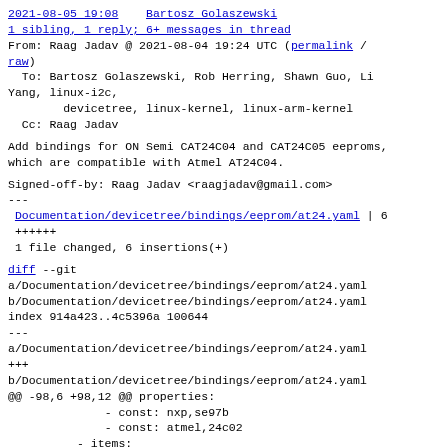2021-08-05 19:08    Bartosz Golaszewski
1 sibling, 1 reply; 6+ messages in thread
From: Raag Jadav @ 2021-08-04 19:24 UTC (permalink / raw)
  To: Bartosz Golaszewski, Rob Herring, Shawn Guo, Li Yang, linux-i2c,
        devicetree, linux-kernel, linux-arm-kernel
  Cc: Raag Jadav
Add bindings for ON Semi CAT24C04 and CAT24C05 eeproms,
which are compatible with Atmel AT24C04.
Signed-off-by: Raag Jadav <raagjadav@gmail.com>
---
Documentation/devicetree/bindings/eeprom/at24.yaml | 6
++++++
 1 file changed, 6 insertions(+)
diff --git
a/Documentation/devicetree/bindings/eeprom/at24.yaml
b/Documentation/devicetree/bindings/eeprom/at24.yaml
index 914a423..4c5396a 100644
---
a/Documentation/devicetree/bindings/eeprom/at24.yaml
+++
b/Documentation/devicetree/bindings/eeprom/at24.yaml
@@ -98,6 +98,12 @@ properties:
              - const: nxp,se97b
              - const: atmel,24c02
          - items: